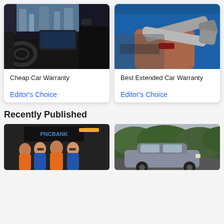[Figure (photo): Car interior dashboard view of a modern vehicle]
Cheap Car Warranty
Editor's Choice
[Figure (photo): Mechanic in blue uniform holding wrenches near a car engine]
Best Extended Car Warranty
Editor's Choice
Recently Published
[Figure (photo): Group of four women in PNC Bank racing team uniforms]
[Figure (photo): Car parked near green hedges/bushes]